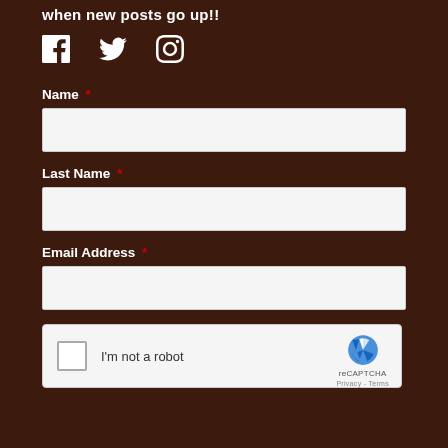when new posts go up!!
[Figure (illustration): Social media icons: Facebook, Twitter, Instagram]
Name *
[Figure (other): Name text input field (empty)]
Last Name *
[Figure (other): Last Name text input field (empty)]
Email Address *
[Figure (other): Email Address text input field (empty)]
[Figure (other): reCAPTCHA widget: checkbox 'I'm not a robot' with reCAPTCHA logo]